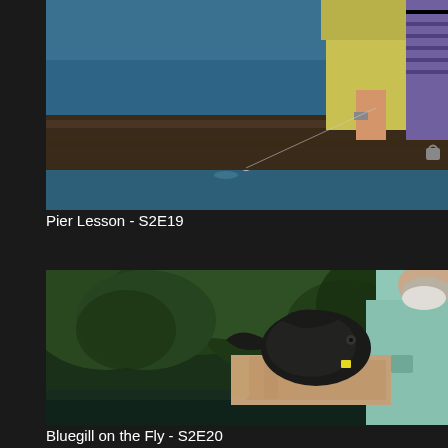[Figure (photo): Video thumbnail showing two people fishing off a pier over blue-green water. One person in a yellow shirt and another in a purple striped shirt are leaning over a wooden railing. A small fishing float is visible in the water below.]
Pier Lesson - S2E19
[Figure (photo): Video thumbnail showing an older man with a white beard wearing a light blue fishing shirt, holding a small bluegill fish with both hands near a body of water with green leafy trees in the background.]
Bluegill on the Fly - S2E20